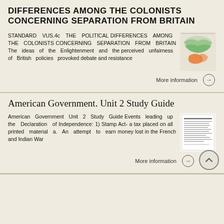DIFFERENCES AMONG THE COLONISTS CONCERNING SEPARATION FROM BRITAIN
STANDARD VUS.4c THE POLITICAL DIFFERENCES AMONG THE COLONISTS CONCERNING SEPARATION FROM BRITAIN The ideas of the Enlightenment and the perceived unfairness of British policies provoked debate and resistance
[Figure (illustration): Thumbnail image of a map document with colored regions]
More information →
American Government. Unit 2 Study Guide
American Government Unit 2 Study Guide Events leading up the Declaration of Independence: 1) Stamp Act- a tax placed on all printed material a. An attempt to earn money lost in the French and Indian War
[Figure (illustration): Thumbnail image of a printed study guide document with text lines]
More information →